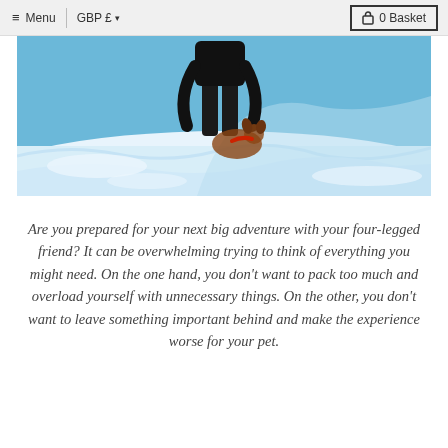≡ Menu | GBP £ ▾  🔒 0 Basket
[Figure (photo): A person in dark clothing bending down towards a dog (partially visible) in a snowy winter landscape with bright blue sky and snow-covered ground.]
Are you prepared for your next big adventure with your four-legged friend? It can be overwhelming trying to think of everything you might need. On the one hand, you don't want to pack too much and overload yourself with unnecessary things. On the other, you don't want to leave something important behind and make the experience worse for your pet.